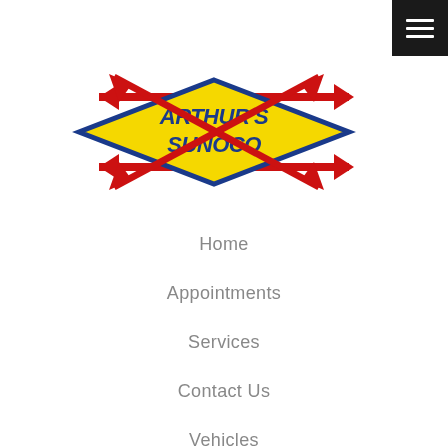[Figure (logo): Arthur's Sunoco logo: yellow diamond shape with blue bold italic text 'ARTHUR'S SUNOCO' and two red arrows crossing through the diamond horizontally]
Home
Appointments
Services
Contact Us
Vehicles
Reviews
Specials